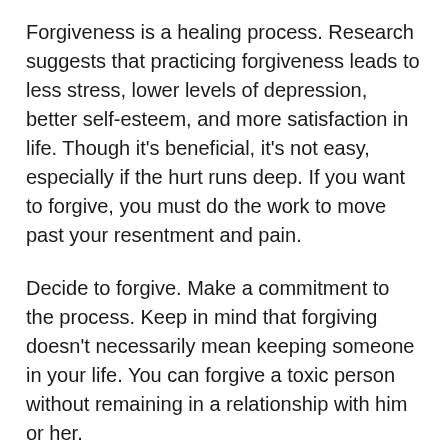Forgiveness is a healing process. Research suggests that practicing forgiveness leads to less stress, lower levels of depression, better self-esteem, and more satisfaction in life. Though it's beneficial, it's not easy, especially if the hurt runs deep. If you want to forgive, you must do the work to move past your resentment and pain.
Decide to forgive. Make a commitment to the process. Keep in mind that forgiving doesn't necessarily mean keeping someone in your life. You can forgive a toxic person without remaining in a relationship with him or her.
Process your emotions in positive ways. You're allowed to be hurt. However, if you're serious about forgiving the person who hurt you, you must move beyond the desire to hurt them back. Rather than lashing out or turning your pain inward on yourself, find healthy ways to cope.